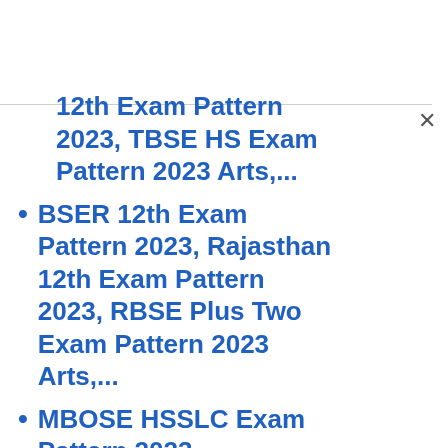12th Exam Pattern 2023, TBSE HS Exam Pattern 2023 Arts,...
BSER 12th Exam Pattern 2023, Rajasthan 12th Exam Pattern 2023, RBSE Plus Two Exam Pattern 2023 Arts,...
MBOSE HSSLC Exam Pattern 2023, Meghalaya 12th Exam...